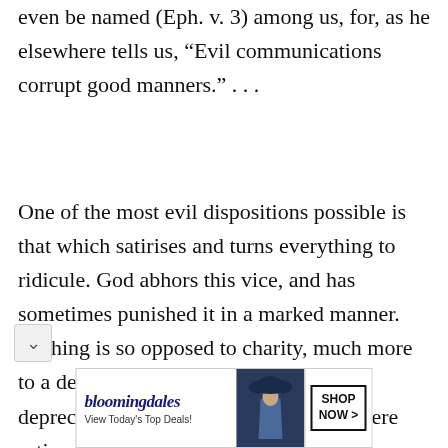even be named (Eph. v. 3) among us, for, as he elsewhere tells us, “Evil communications corrupt good manners.” . . .
One of the most evil dispositions possible is that which satirises and turns everything to ridicule. God abhors this vice, and has sometimes punished it in a marked manner. Nothing is so opposed to charity, much more to a devout spirit, as contempt and depreciation of one’s neighbour, and where satire and ridicule
[Figure (other): Bloomingdale's advertisement banner: logo, tagline 'View Today's Top Deals!', image of woman in hat, 'SHOP NOW >' button]